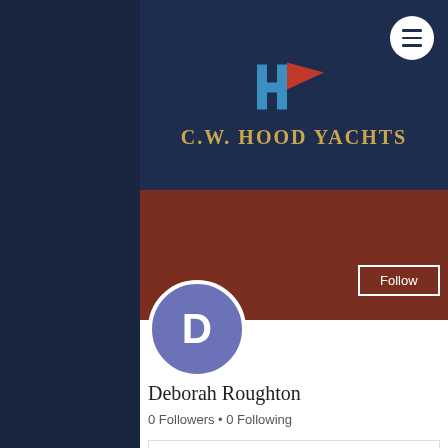[Figure (logo): C.W. Hood Yachts logo with stylized H and pennant flag in blue and red]
C.W. HOOD YACHTS
[Figure (screenshot): User profile avatar circle with letter D in purple/slate blue]
Follow
Deborah Roughton
0 Followers • 0 Following